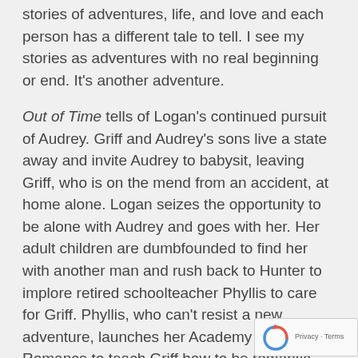stories of adventures, life, and love and each person has a different tale to tell. I see my stories as adventures with no real beginning or end. It's another adventure.
Out of Time tells of Logan's continued pursuit of Audrey. Griff and Audrey's sons live a state away and invite Audrey to babysit, leaving Griff, who is on the mend from an accident, at home alone. Logan seizes the opportunity to be alone with Audrey and goes with her. Her adult children are dumbfounded to find her with another man and rush back to Hunter to implore retired schoolteacher Phyllis to care for Griff. Phyllis, who can't resist a new adventure, launches her Academy of Romance to teach Griff how to be romantic proving that you can get carried away by love and libido, no matter your age.
Wasting Time continues the saga as Audrey has to decide whether she will honor her long-ago wedding